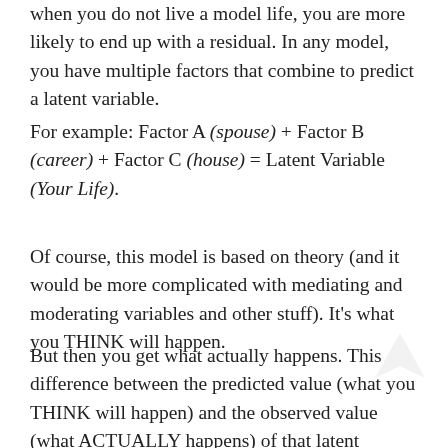when you do not live a model life, you are more likely to end up with a residual. In any model, you have multiple factors that combine to predict a latent variable.
For example: Factor A (spouse) + Factor B (career) + Factor C (house) = Latent Variable (Your Life).
Of course, this model is based on theory (and it would be more complicated with mediating and moderating variables and other stuff). It's what you THINK will happen.
But then you get what actually happens. This difference between the predicted value (what you THINK will happen) and the observed value (what ACTUALLY happens) of that latent variable (YOUR LIFE) is the residual.